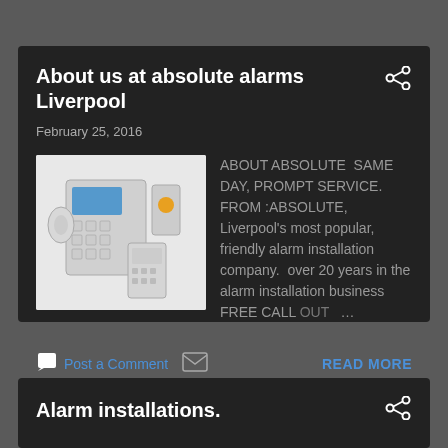About us at absolute alarms Liverpool
February 25, 2016
[Figure (photo): Alarm system components including control panel, sensors, and keypad devices on white background]
ABOUT ABSOLUTE  SAME DAY, PROMPT SERVICE. FROM :ABSOLUTE,  Liverpool's most popular, friendly alarm installation company.  over 20 years in the alarm installation business  FREE CALL OUT  ...
Post a Comment  READ MORE
Alarm installations.